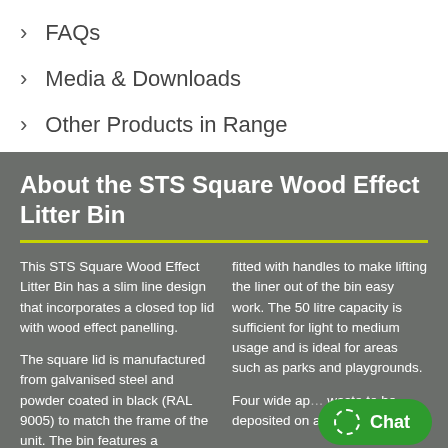> FAQs
> Media & Downloads
> Other Products in Range
About the STS Square Wood Effect Litter Bin
This STS Square Wood Effect Litter Bin has a slim line design that incorporates a closed top lid with wood effect panelling.

The square lid is manufactured from galvanised steel and powder coated in black (RAL 9005) to match the frame of the unit. The bin features a
fitted with handles to make lifting the liner out of the bin easy work. The 50 litre capacity is sufficient for light to medium usage and is ideal for areas such as parks and playgrounds.

Four wide ap... waste to be deposited on any